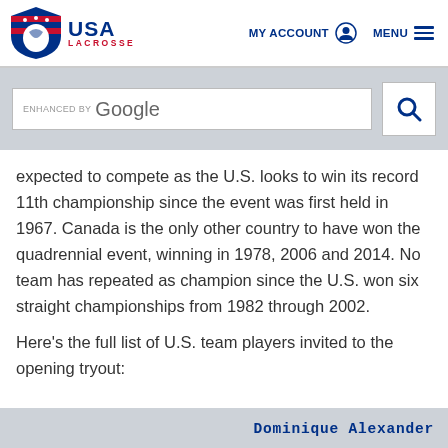USA LACROSSE | MY ACCOUNT | MENU
[Figure (screenshot): Enhanced by Google search bar with search icon button]
expected to compete as the U.S. looks to win its record 11th championship since the event was first held in 1967. Canada is the only other country to have won the quadrennial event, winning in 1978, 2006 and 2014. No team has repeated as champion since the U.S. won six straight championships from 1982 through 2002.
Here's the full list of U.S. team players invited to the opening tryout:
| Dominique Alexander |
| --- |